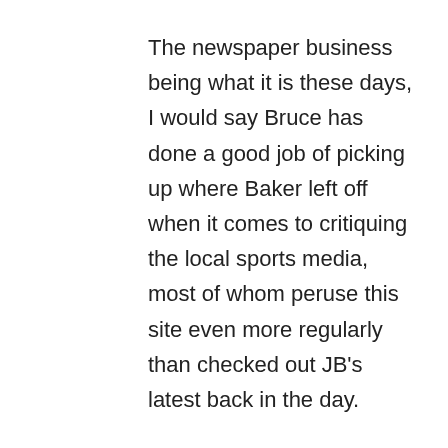The newspaper business being what it is these days, I would say Bruce has done a good job of picking up where Baker left off when it comes to critiquing the local sports media, most of whom peruse this site even more regularly than checked out JB's latest back in the day.
Other anchor/reporters not yet listed: Larry Ridley, Alice Cook, Ed Berliner, John Carchedi and Phil Burton.
I honestly have no idea who Barbara